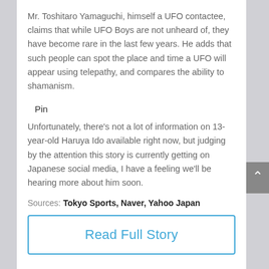Mr. Toshitaro Yamaguchi, himself a UFO contactee, claims that while UFO Boys are not unheard of, they have become rare in the last few years. He adds that such people can spot the place and time a UFO will appear using telepathy, and compares the ability to shamanism.
Pin
Unfortunately, there's not a lot of information on 13-year-old Haruya Ido available right now, but judging by the attention this story is currently getting on Japanese social media, I have a feeling we'll be hearing more about him soon.
Sources: Tokyo Sports, Naver, Yahoo Japan
Read Full Story